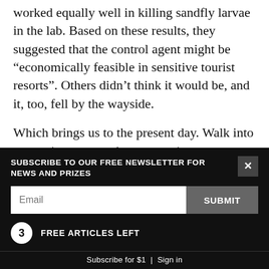worked equally well in killing sandfly larvae in the lab. Based on these results, they suggested that the control agent might be “economically feasible in sensitive tourist resorts”. Others didn’t think it would be, and it, too, fell by the wayside.
Which brings us to the present day. Walk into a camping store and a prospective tramper will be dazzled by the choice of sandfly repellents. Candles, coils, lantern-shaped zapping devices, vitamin B tablets, ointments, sprays, lotions, roll-ons, each catering for any season, skin type and expected level
SUBSCRIBE TO OUR FREE NEWSLETTER FOR NEWS AND PRIZES
Email
SUBMIT
3 FREE ARTICLES LEFT
Subscribe for $1 | Sign in